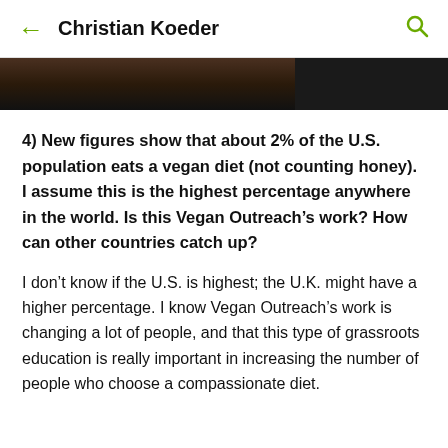Christian Koeder
[Figure (photo): Partial bottom edge of a photo, dark tones, cropped at top of content area]
4) New figures show that about 2% of the U.S. population eats a vegan diet (not counting honey). I assume this is the highest percentage anywhere in the world. Is this Vegan Outreach’s work? How can other countries catch up?
I don’t know if the U.S. is highest; the U.K. might have a higher percentage. I know Vegan Outreach’s work is changing a lot of people, and that this type of grassroots education is really important in increasing the number of people who choose a compassionate diet.